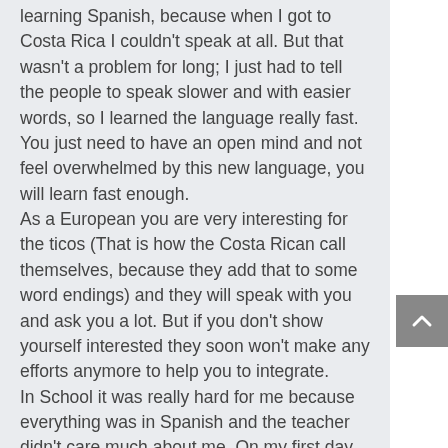learning Spanish, because when I got to Costa Rica I couldn't speak at all. But that wasn't a problem for long; I just had to tell the people to speak slower and with easier words, so I learned the language really fast. You just need to have an open mind and not feel overwhelmed by this new language, you will learn fast enough. As a European you are very interesting for the ticos (That is how the Costa Rican call themselves, because they add that to some word endings) and they will speak with you and ask you a lot. But if you don't show yourself interested they soon won't make any efforts anymore to help you to integrate. In School it was really hard for me because everything was in Spanish and the teacher didn't care much about me. On my first day there they talked with me in English so that I could understand something, but after the first week I told them to speak Spanish with me because I wanted to learn Spanish and not English. I just